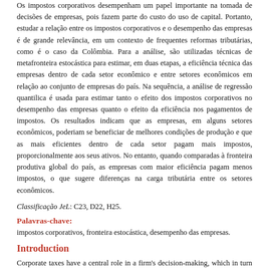Os impostos corporativos desempenham um papel importante na tomada de decisões de empresas, pois fazem parte do custo do uso de capital. Portanto, estudar a relação entre os impostos corporativos e o desempenho das empresas é de grande relevância, em um contexto de frequentes reformas tributárias, como é o caso da Colômbia. Para a análise, são utilizadas técnicas de metafronteira estocástica para estimar, em duas etapas, a eficiência técnica das empresas dentro de cada setor econômico e entre setores econômicos em relação ao conjunto de empresas do país. Na sequência, a análise de regressão quantilica é usada para estimar tanto o efeito dos impostos corporativos no desempenho das empresas quanto o efeito da eficiência nos pagamentos de impostos. Os resultados indicam que as empresas, em alguns setores econômicos, poderiam se beneficiar de melhores condições de produção e que as mais eficientes dentro de cada setor pagam mais impostos, proporcionalmente aos seus ativos. No entanto, quando comparadas à fronteira produtiva global do país, as empresas com maior eficiência pagam menos impostos, o que sugere diferenças na carga tributária entre os setores econômicos.
Classificação JeL: C23, D22, H25.
Palavras-chave:
impostos corporativos, fronteira estocástica, desempenho das empresas.
Introduction
Corporate taxes have a central role in a firm's decision-making, which in turn affects economic activity and has implications for a country's fiscal accounts (Hanlon & Heitzman, 2010). Taxes might affect the performance of firms through different channels. Vartia (2008) points out three specific channels through which taxes can affect the performance of companies. Specifically, taxes can distort the efficient allocation of resources, affect the funding incentives by impacting the firm's expected return after taxes and can favor